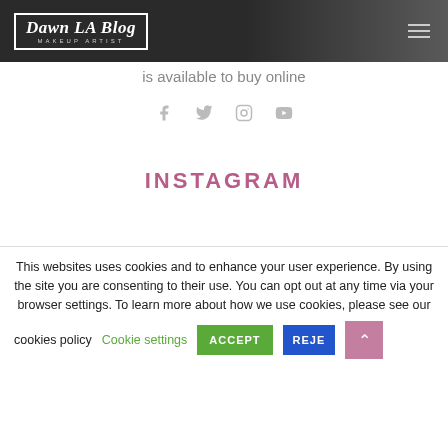Dawn LA Blog - MAKEUP ARTIST
is available to buy online
[Figure (other): Social media icons: Facebook, Twitter, Instagram, YouTube]
INSTAGRAM
This websites uses cookies and to enhance your user experience. By using the site you are consenting to their use. You can opt out at any time via your browser settings. To learn more about how we use cookies, please see our cookies policy  Cookie settings  ACCEPT  REJECT